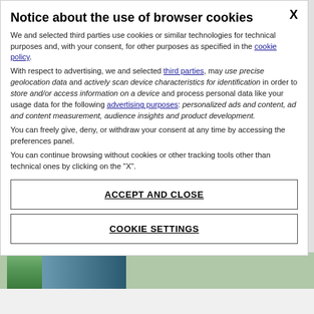Notice about the use of browser cookies
We and selected third parties use cookies or similar technologies for technical purposes and, with your consent, for other purposes as specified in the cookie policy.
With respect to advertising, we and selected third parties, may use precise geolocation data and actively scan device characteristics for identification in order to store and/or access information on a device and process personal data like your usage data for the following advertising purposes: personalized ads and content, ad and content measurement, audience insights and product development.
You can freely give, deny, or withdraw your consent at any time by accessing the preferences panel.
You can continue browsing without cookies or other tracking tools other than technical ones by clicking on the "X".
ACCEPT AND CLOSE
COOKIE SETTINGS
[Figure (photo): Partial photo strip showing trees and a building with blue glass facade at bottom of page]